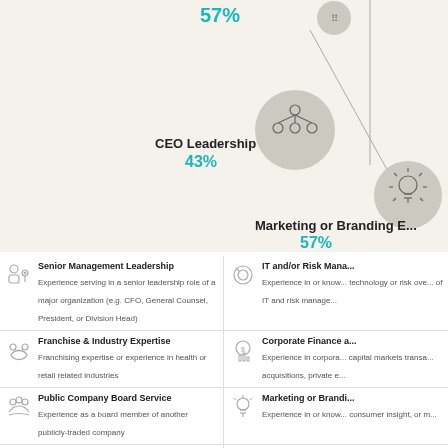[Figure (infographic): Top portion of an infographic showing circles and labels for CEO Leadership 43% and Marketing or Branding 57%, with connecting lines and icons on a beige background.]
| Senior Management Leadership – Experience serving in a senior leadership role of a major organization (e.g. CFO, General Counsel, President, or Division Head) | IT and/or Risk Mana... – Experience in or know... technology or risk ove... of IT and risk manage... |
| Franchise & Industry Expertise – Franchising expertise or experience in health or retail related industries | Corporate Finance a... – Experience in corpora... capital markets transa... acquisitions, private e... |
| Public Company Board Service – Experience as a board member of another publicly-traded company | Marketing or Brandi... – Experience in or know... consumer insight, or m... |
| Operations Management Expertise – Experience or expertise in managing the operations of a business or major organization | CEO Leadership – Experience serving as... of a major organizatio... |